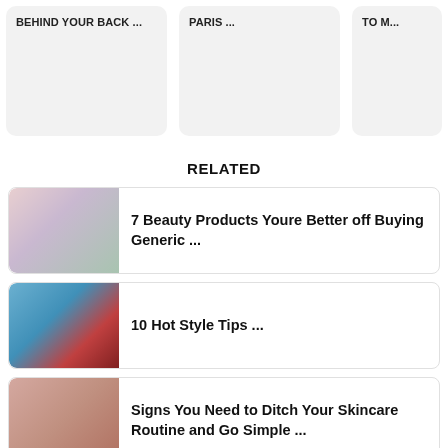BEHIND YOUR BACK ...
PARIS ...
TO M...
RELATED
7 Beauty Products Youre Better off Buying Generic ...
10 Hot Style Tips ...
Signs You Need to Ditch Your Skincare Routine and Go Simple ...
How Swimming Can Keep You Strong Even in